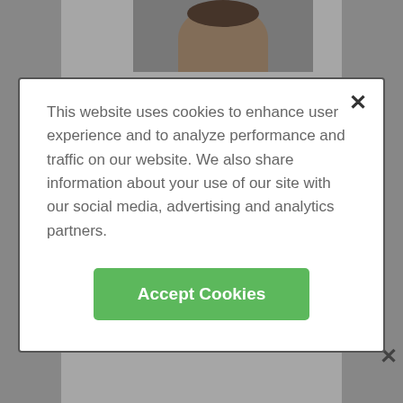[Figure (photo): Partial view of a male doctor's head/shoulders photo at the top of the page, cut off by the cookie consent modal]
This website uses cookies to enhance user experience and to analyze performance and traffic on our website. We also share information about your use of our site with our social media, advertising and analytics partners.
Accept Cookies
[Figure (photo): Professional headshot of a female doctor with short brown hair, smiling, wearing a dark jacket, against a grey background]
ADVERTISEMENT
[Figure (infographic): Healthgrades advertisement banner: '5-star doctors really do exist. Find Yours Today' with Healthgrades logo and orange Find Yours Today button]